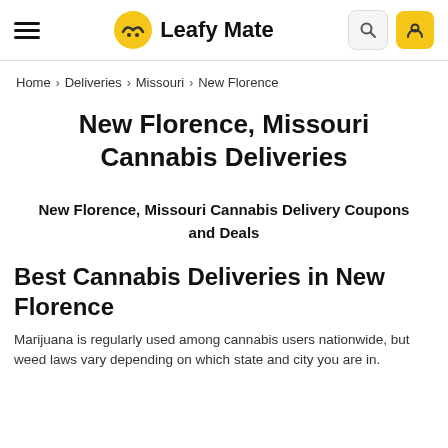Leafy Mate
Home > Deliveries > Missouri > New Florence
New Florence, Missouri Cannabis Deliveries
New Florence, Missouri Cannabis Delivery Coupons and Deals
Best Cannabis Deliveries in New Florence
Marijuana is regularly used among cannabis users nationwide, but weed laws vary depending on which state and city you are in.